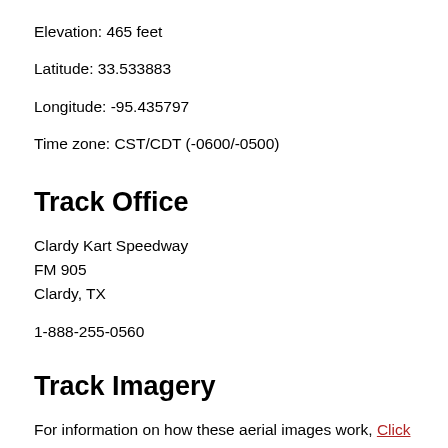Elevation: 465 feet
Latitude: 33.533883
Longitude: -95.435797
Time zone: CST/CDT (-0600/-0500)
Track Office
Clardy Kart Speedway
FM 905
Clardy, TX
1-888-255-0560
Track Imagery
For information on how these aerial images work, Click Here.